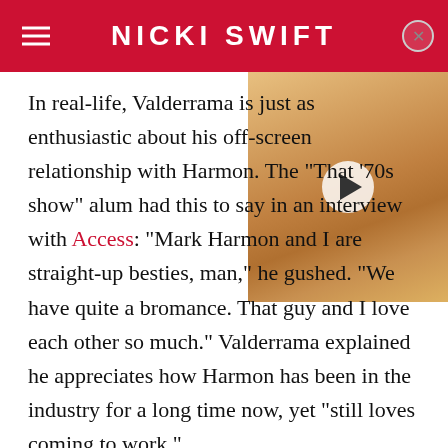NICKI SWIFT
[Figure (photo): Video thumbnail showing a smiling woman with blonde hair, with a play button overlay in the upper right area of the page]
In real-life, Valderrama is just as enthusiastic about his off-screen relationship with Harmon. The "That '70s show" alum had this to say in an interview with Access: "Mark Harmon and I are straight-up besties, man," he gushed. "We have quite a bromance. That guy and I love each other so much." Valderrama explained he appreciates how Harmon has been in the industry for a long time now, yet "still loves coming to work."